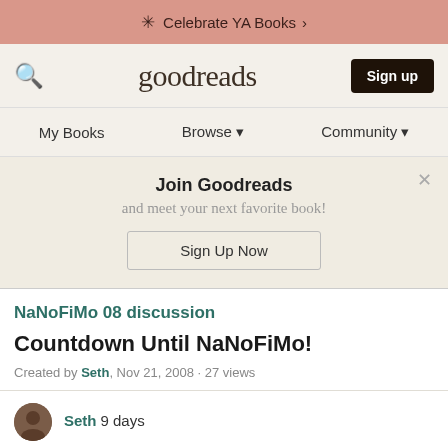Celebrate YA Books >
goodreads  Sign up
My Books  Browse ▼  Community ▼
Join Goodreads
and meet your next favorite book!
Sign Up Now
NaNoFiMo 08 discussion
Countdown Until NaNoFiMo!
Created by Seth, Nov 21, 2008 · 27 views
Seth 9 days